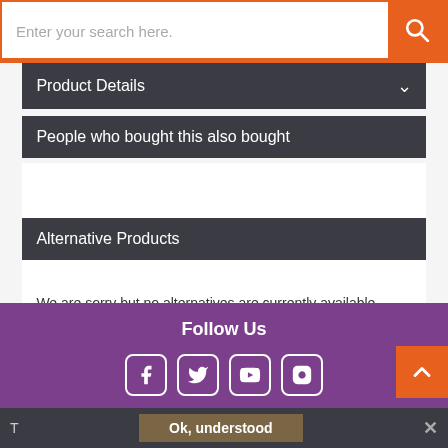[Figure (screenshot): Search bar with orange border and orange search button containing a magnifying glass icon. Placeholder text reads 'Enter your search here.']
Product Details
People who bought this also bought
Alternative Products
We are sorry but no alternatives are currently available.
Follow Us
[Figure (illustration): Social media icons: Facebook, Twitter, YouTube, Instagram]
T
Ok, understood
✕